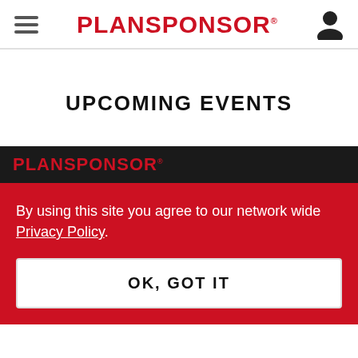PLANSPONSOR
UPCOMING EVENTS
[Figure (logo): PLANSPONSOR logo in red on dark background footer]
By using this site you agree to our network wide Privacy Policy.
OK, GOT IT